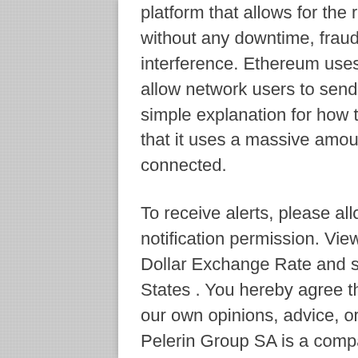platform that allows for the running of applications without any downtime, fraud, censorship of third-party interference. Ethereum uses blockchain technology to allow network users to send and receive payments. A simple explanation for how the network operates is that it uses a massive amount of nodes that are all connected.
To receive alerts, please allow web browser notification permission. View the Ethereum to US Dollar Exchange Rate and send money to United States . You hereby agree that we are not providing our own opinions, advice, or recommendations. Mt Pelerin Group SA is a company established in Switzerland since 2018, with offices in Neuchâtel and Geneva